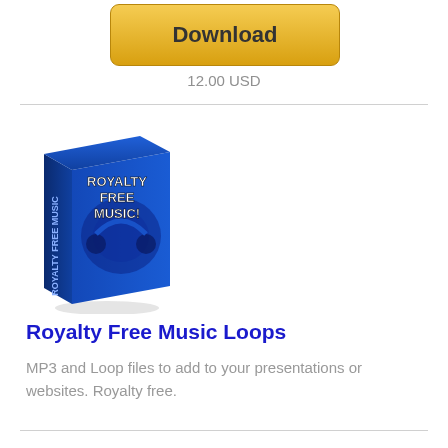[Figure (illustration): Download button (gold/yellow rounded rectangle)]
12.00 USD
[Figure (photo): Product box image for Royalty Free Music Loops - blue box with headphones graphic and text 'ROYALTY FREE MUSIC!']
Royalty Free Music Loops
MP3 and Loop files to add to your presentations or websites. Royalty free.
[Figure (illustration): Download button (gold/yellow rounded rectangle)]
9.95 USD